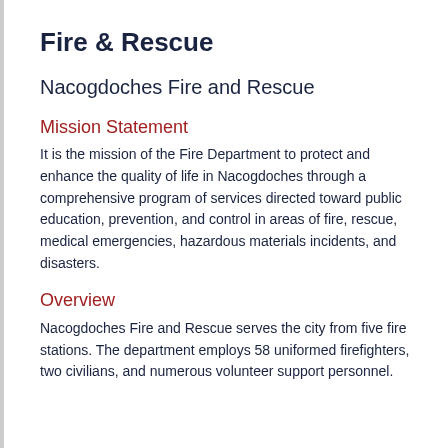Fire & Rescue
Nacogdoches Fire and Rescue
Mission Statement
It is the mission of the Fire Department to protect and enhance the quality of life in Nacogdoches through a comprehensive program of services directed toward public education, prevention, and control in areas of fire, rescue, medical emergencies, hazardous materials incidents, and disasters.
Overview
Nacogdoches Fire and Rescue serves the city from five fire stations. The department employs 58 uniformed firefighters, two civilians, and numerous volunteer support personnel.